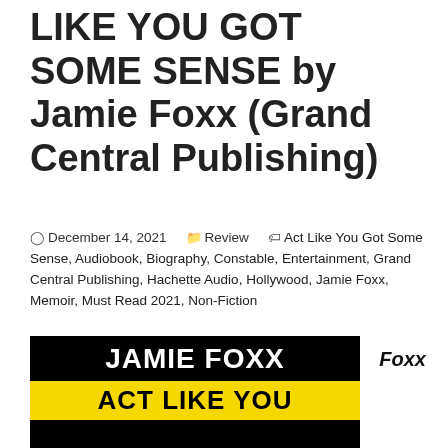LIKE YOU GOT SOME SENSE by Jamie Foxx (Grand Central Publishing)
December 14, 2021  Review  Act Like You Got Some Sense, Audiobook, Biography, Constable, Entertainment, Grand Central Publishing, Hachette Audio, Hollywood, Jamie Foxx, Memoir, Must Read 2021, Non-Fiction
[Figure (photo): Book cover of 'Act Like You Got Some Sense' by Jamie Foxx. Black background with 'JAMIE FOXX' in large white text and 'ACT LIKE YOU' on a yellow banner at the bottom.]
Foxx